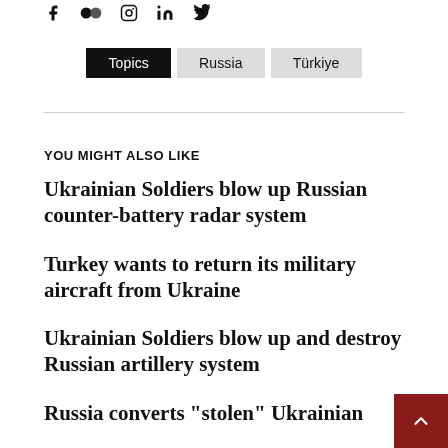[Figure (other): Social media icons row: Facebook, Flickr, Instagram, LinkedIn, Twitter]
Topics  Russia  Türkiye
YOU MIGHT ALSO LIKE
Ukrainian Soldiers blow up Russian counter-battery radar system
Turkey wants to return its military aircraft from Ukraine
Ukrainian Soldiers blow up and destroy Russian artillery system
Russia converts “stolen” Ukrainian